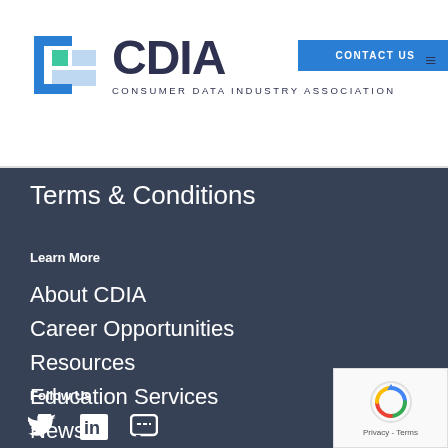[Figure (logo): CDIA logo with icon and text 'CONSUMER DATA INDUSTRY ASSOCIATION']
CONTACT US
Terms & Conditions
Learn More
About CDIA
Career Opportunities
Resources
Education Services
News
Follow Us
[Figure (illustration): Social media icons: Twitter bird, LinkedIn 'in', speech bubble/chat icon]
[Figure (logo): reCAPTCHA badge with spinning arrows logo and 'Privacy - Terms' text]